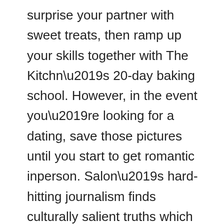surprise your partner with sweet treats, then ramp up your skills together with The Kitchn’s 20-day baking school. However, in the event you’re looking for a dating, save those pictures until you start to get romantic inperson. Salon’s hard-hitting journalism finds culturally salient truths which influence contemporary dating culture. Obviously, these conventional dating platforms wouldn’t be really well-known should they didn’t work. She lets me get away